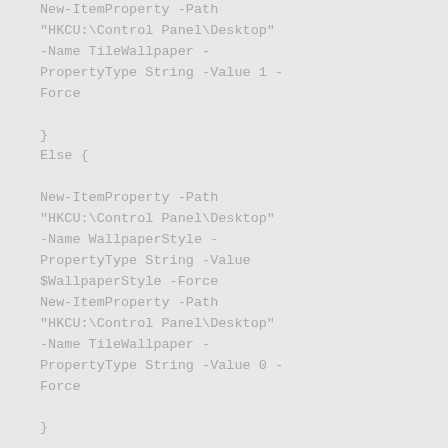New-ItemProperty -Path
"HKCU:\Control Panel\Desktop"
-Name TileWallpaper -
PropertyType String -Value 1 -
Force

}
Else {

New-ItemProperty -Path
"HKCU:\Control Panel\Desktop"
-Name WallpaperStyle -
PropertyType String -Value
$WallpaperStyle -Force
New-ItemProperty -Path
"HKCU:\Control Panel\Desktop"
-Name TileWallpaper -
PropertyType String -Value 0 -
Force

}

Add-Type -TypeDefinition @"